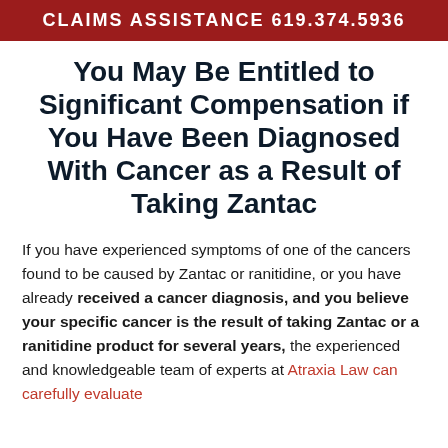CLAIMS ASSISTANCE 619.374.5936
You May Be Entitled to Significant Compensation if You Have Been Diagnosed With Cancer as a Result of Taking Zantac
If you have experienced symptoms of one of the cancers found to be caused by Zantac or ranitidine, or you have already received a cancer diagnosis, and you believe your specific cancer is the result of taking Zantac or a ranitidine product for several years, the experienced and knowledgeable team of experts at Atraxia Law can carefully evaluate